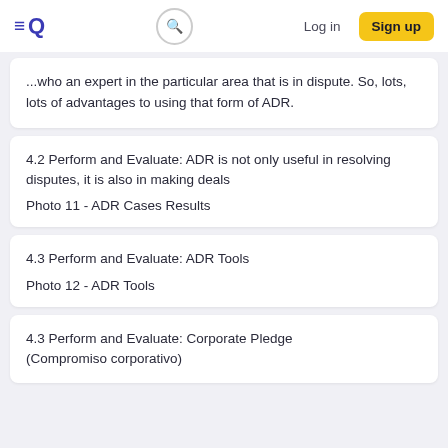Log in | Sign up
...who an expert in the particular area that is in dispute. So, lots, lots of advantages to using that form of ADR.
4.2 Perform and Evaluate: ADR is not only useful in resolving disputes, it is also in making deals
Photo 11 - ADR Cases Results
4.3 Perform and Evaluate: ADR Tools
Photo 12 - ADR Tools
4.3 Perform and Evaluate: Corporate Pledge (Compromiso corporativo)